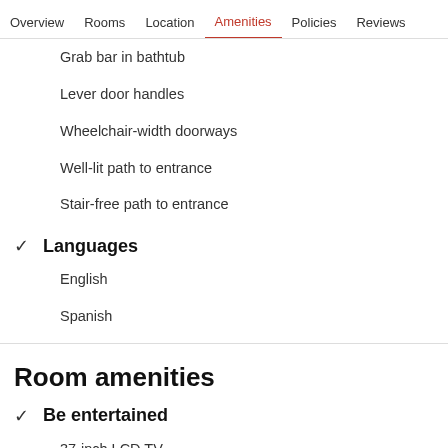Overview  Rooms  Location  Amenities  Policies  Reviews
Grab bar in bathtub
Lever door handles
Wheelchair-width doorways
Well-lit path to entrance
Stair-free path to entrance
Languages
English
Spanish
Room amenities
Be entertained
37-inch LCD TV
Premium satellite channels